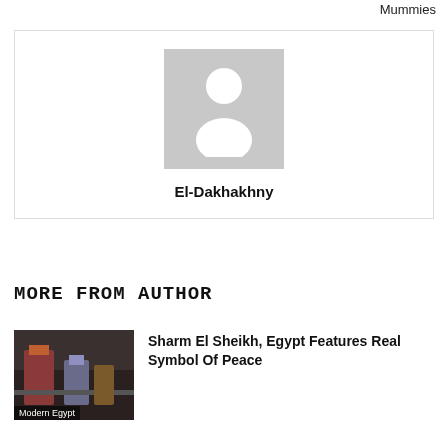Mummies
[Figure (illustration): Author profile card with grey placeholder avatar silhouette and name El-Dakhakhny]
El-Dakhakhny
MORE FROM AUTHOR
[Figure (photo): Thumbnail image labeled Modern Egypt showing colorful items]
Sharm El Sheikh, Egypt Features Real Symbol Of Peace